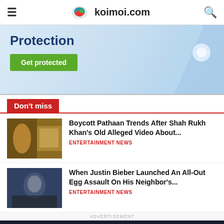koimoi.com
[Figure (screenshot): Advertisement banner with 'Protection' text and 'Get protected' green button on blue background]
Don't miss
[Figure (photo): Thumbnail image for Boycott Pathaan article]
Boycott Pathaan Trends After Shah Rukh Khan's Old Alleged Video About...
ENTERTAINMENT NEWS
[Figure (photo): Thumbnail image for Justin Bieber article]
When Justin Bieber Launched An All-Out Egg Assault On His Neighbor's...
ENTERTAINMENT NEWS
ADVERTISEMENT
[Figure (screenshot): PIA VPN advertisement banner: 'PIA™ VPN Official Site' with 'World's Most Trusted VPN' orange button]